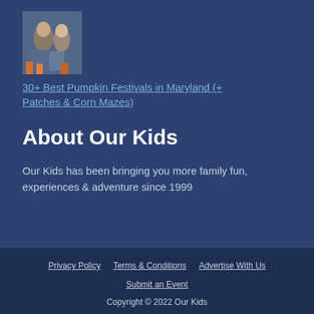[Figure (photo): Two children in Halloween costumes sitting outdoors with pumpkins]
30+ Best Pumpkin Festivals in Maryland (+ Patches & Corn Mazes)
About Our Kids
Our Kids has been bringing you more family fun, experiences & adventure since 1999
Privacy Policy   Terms & Conditions   Advertise With Us   Submit an Event   Copyright © 2022 Our Kids